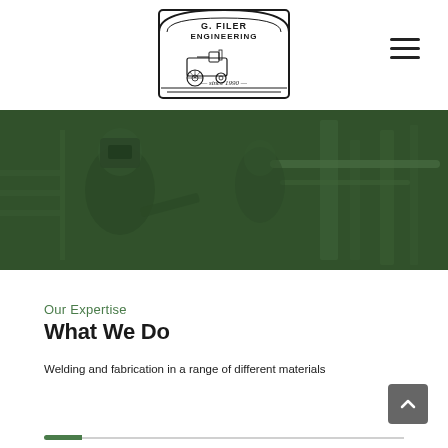[Figure (logo): G. Filer Engineering logo with vintage tractor illustration inside a decorative frame, text reads 'G. FILER ENGINEERING since 1990']
[Figure (photo): Green-tinted workshop/welding scene showing a worker in protective gear surrounded by equipment and machinery]
Our Expertise
What We Do
Welding and fabrication in a range of different materials